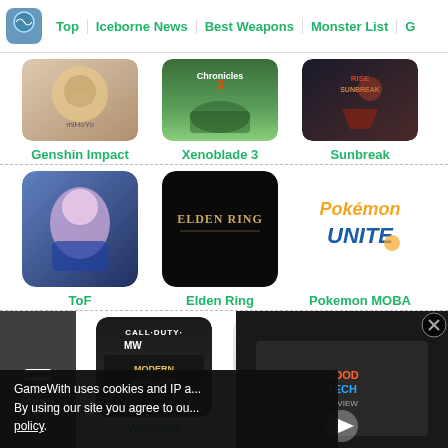Top | Iceborne News | Best Weapons | Monster List
[Figure (screenshot): Genshin Impact game thumbnail]
Genshin Impact
[Figure (screenshot): Xenoblade 3 game thumbnail]
Xenoblade 3
[Figure (screenshot): Sunbreak game thumbnail]
Sunbreak
[Figure (screenshot): ToF game thumbnail]
ToF
[Figure (screenshot): Elden Ring game thumbnail]
Elden Ring
[Figure (screenshot): Pokemon MOBA game thumbnail]
Pokemon MOBA
[Figure (screenshot): Call of Duty Modern Warfare / Warzone thumbnail]
Warzone
[Figure (screenshot): Pokemon Legends Arceus thumbnail]
Pokemon
[Figure (screenshot): Video overlay showing tech review content]
GameWith uses cookies and IP a... By using our site you agree to ou... policy.